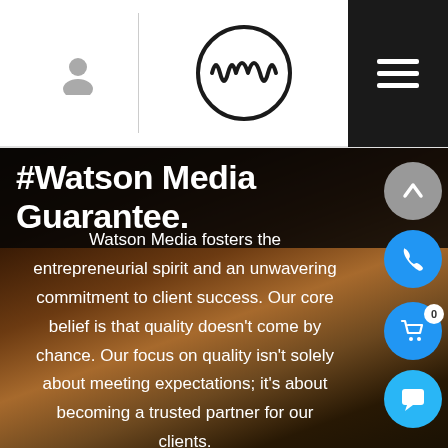[Figure (logo): Watson Media logo — a circular logo with stylized W/M wave mark inside a circle]
#Watson Media Guarantee.
Watson Media fosters the entrepreneurial spirit and an unwavering commitment to client success. Our core belief is that quality doesn't come by chance. Our focus on quality isn't solely about meeting expectations; it's about becoming a trusted partner for our clients.
This is the Watson Media Guarantee. We collaborate with our clients to produce tangible solutions that provide real,